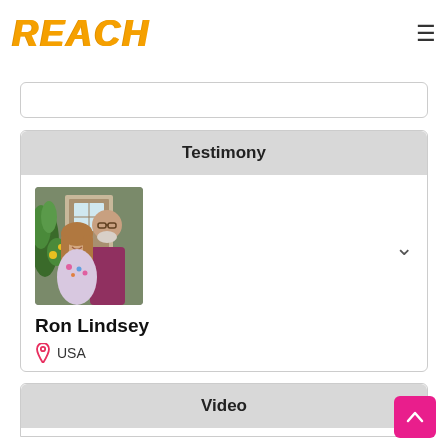[Figure (logo): REACH logo in orange hand-drawn style text]
[Figure (other): Hamburger menu icon (three horizontal lines)]
[Figure (photo): Photo of couple Ron Lindsey standing in front of a door with greenery]
Testimony
Ron Lindsey
USA
Video